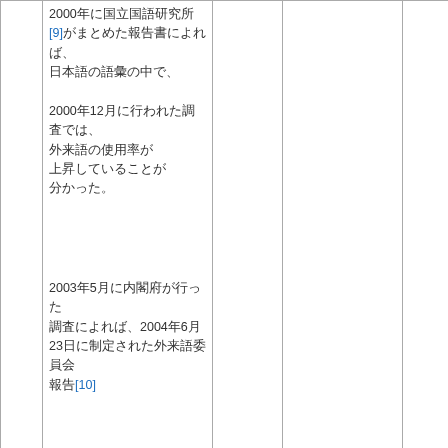|  | 2000年に国立国語研究所[9]がまとめた報告書によれば、日本語の語彙の中で、2000年12月に行われた調査では、外来語の使用率が上昇していることが分かった。 |  |  |  |
|  | 2003年5月に内閣府が行った調査によれば、2004年6月23日に制定された外来語委員会報告[10] |  |  |  |
|  |  | 2005年 |  |  |
|  |  |  | ここ5年間における外来語の使用状況について | 回答 |